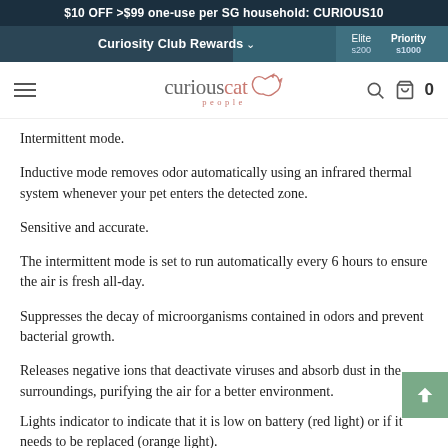$10 OFF >$99 one-use per SG household: CURIOUS10
Curiosity Club Rewards  Elite  Priority
curiouscat people
Intermittent mode.
Inductive mode removes odor automatically using an infrared thermal system whenever your pet enters the detected zone.
Sensitive and accurate.
The intermittent mode is set to run automatically every 6 hours to ensure the air is fresh all-day.
Suppresses the decay of microorganisms contained in odors and prevent bacterial growth.
Releases negative ions that deactivate viruses and absorb dust in the surroundings, purifying the air for a better environment.
Lights indicator to indicate that it is low on battery (red light) or if it needs to be replaced (orange light).